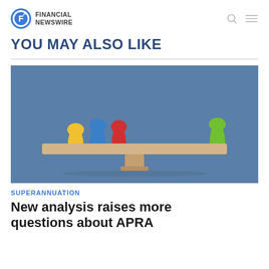FINANCIAL NEWSWIRE
YOU MAY ALSO LIKE
[Figure (photo): Colorful game pieces (yellow, blue, red on left side; green on right side) balanced on a wooden seesaw/balance beam against a blue background]
SUPERANNUATION
New analysis raises more questions about APRA